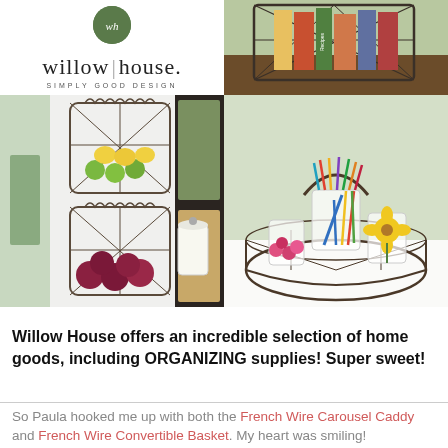[Figure (logo): Willow House logo with circle emblem, brand name and tagline 'Simply Good Design']
[Figure (photo): Wire basket holding books/magazines including what appears to be recipe books, on a wooden surface with green background]
[Figure (photo): Two wire wall-mounted baskets holding fruits and vegetables (lemons, limes, red onions), mounted on white wall next to dark cabinet shelving with white canister]
[Figure (photo): Wire carousel caddy/basket holding glasses with scissors, pencils, a yellow flower, and craft supplies on white surface]
Willow House offers an incredible selection of home goods, including ORGANIZING supplies!  Super sweet!
So Paula hooked me up with both the French Wire Carousel Caddy and French Wire Convertible Basket.  My heart was smiling!